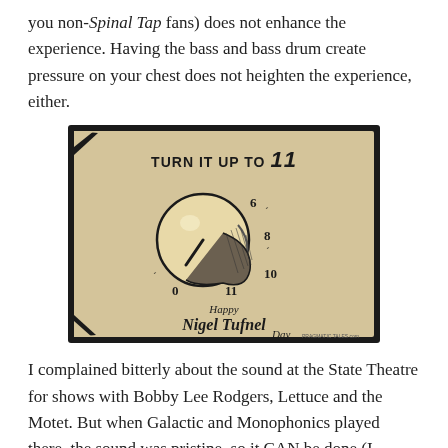you non-Spinal Tap fans) does not enhance the experience. Having the bass and bass drum create pressure on your chest does not heighten the experience, either.
[Figure (illustration): Cartoon illustration of a volume knob with numbers 0, 6, 8, 10, 11 around it. Text reads 'TURN IT UP TO 11' at the top and 'Happy Nigel Tufnel Day' at the bottom. Background is tan/beige with black border. Small text at bottom right reads 'PRAGMATIC TALES.com'.]
I complained bitterly about the sound at the State Theatre for shows with Bobby Lee Rodgers, Lettuce and the Motet. But when Galactic and Monophonics played there, the sound was pristine, so it CAN be done (I suspect they had their own sound people running the boards – people who actually give a damn and who have some hearing left).